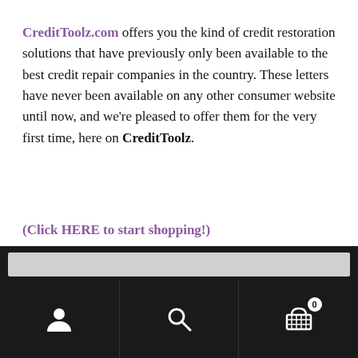CreditToolz.com offers you the kind of credit restoration solutions that have previously only been available to the best credit repair companies in the country. These letters have never been available on any other consumer website until now, and we're pleased to offer them for the very first time, here on CreditToolz.
(Click HERE to start shopping!)
A new twist on do-it-yourself
[Figure (screenshot): Mobile navigation bar with search input, user icon, search icon, and cart icon with badge showing 0]